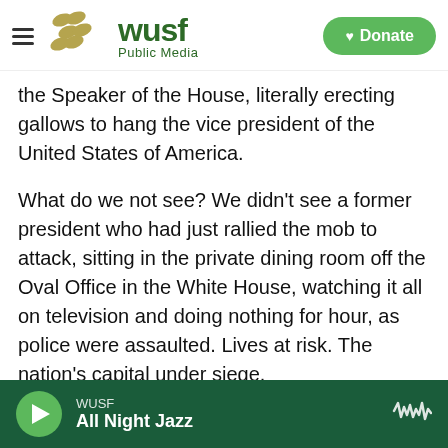WUSF Public Media — Donate
the Speaker of the House, literally erecting gallows to hang the vice president of the United States of America.
What do we not see? We didn't see a former president who had just rallied the mob to attack, sitting in the private dining room off the Oval Office in the White House, watching it all on television and doing nothing for hour, as police were assaulted. Lives at risk. The nation's capital under siege.
This wasn't a group of tourists. This is an armed insurrection. They weren't looking to uphold the will of the people. They were looking to destroy the will of
WUSF — All Night Jazz